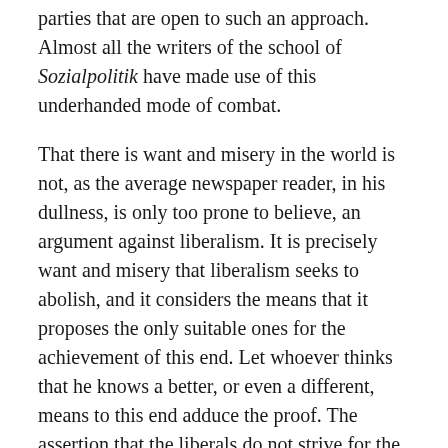parties that are open to such an approach. Almost all the writers of the school of Sozialpolitik have made use of this underhanded mode of combat.
That there is want and misery in the world is not, as the average newspaper reader, in his dullness, is only too prone to believe, an argument against liberalism. It is precisely want and misery that liberalism seeks to abolish, and it considers the means that it proposes the only suitable ones for the achievement of this end. Let whoever thinks that he knows a better, or even a different, means to this end adduce the proof. The assertion that the liberals do not strive for the good of all members of society, but only for that of special groups, is in no way a substitute for this proof.
The fact that there is want and misery would not constitute an argument against liberalism even if the world today followed a liberal policy. It would always be an open question whether still more want and misery might not prevail if other policies had been followed. In view of all the ways in which the functioning